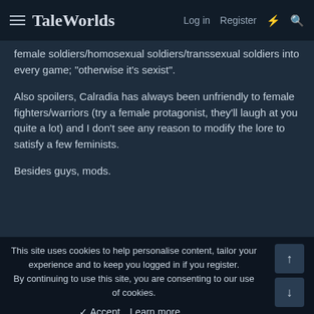TaleWorlds  Log in  Register
female soldiers/homosexual soldiers/transsexual soldiers into every game; "otherwise it's sexist".
Also spoilers, Calradia has always been unfriendly to female fighters/warriors (try a female protagonist, they'll laugh at you quite a lot) and I don't see any reason to modify the lore to satisfy a few feminists.
Besides guys, mods.
Mad Vader
Duhpressed
This site uses cookies to help personalise content, tailor your experience and to keep you logged in if you register.
By continuing to use this site, you are consenting to our use of cookies.
✓ Accept  Learn more...